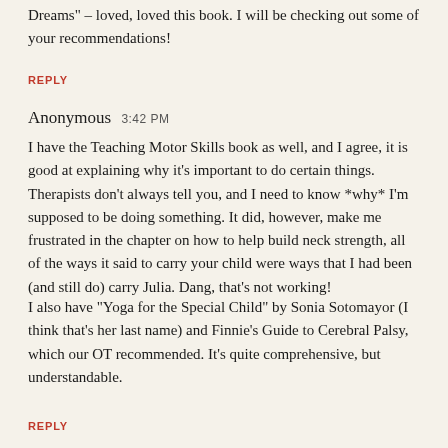Dreams" - loved, loved this book. I will be checking out some of your recommendations!
REPLY
Anonymous  3:42 PM
I have the Teaching Motor Skills book as well, and I agree, it is good at explaining why it's important to do certain things. Therapists don't always tell you, and I need to know *why* I'm supposed to be doing something. It did, however, make me frustrated in the chapter on how to help build neck strength, all of the ways it said to carry your child were ways that I had been (and still do) carry Julia. Dang, that's not working!
I also have "Yoga for the Special Child" by Sonia Sotomayor (I think that's her last name) and Finnie's Guide to Cerebral Palsy, which our OT recommended. It's quite comprehensive, but understandable.
REPLY